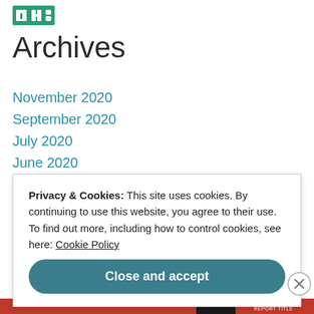[Figure (logo): Green logo icon with stylized design]
Archives
November 2020
September 2020
July 2020
June 2020
May 2020
April 2020
Privacy & Cookies: This site uses cookies. By continuing to use this website, you agree to their use. To find out more, including how to control cookies, see here: Cookie Policy
Close and accept